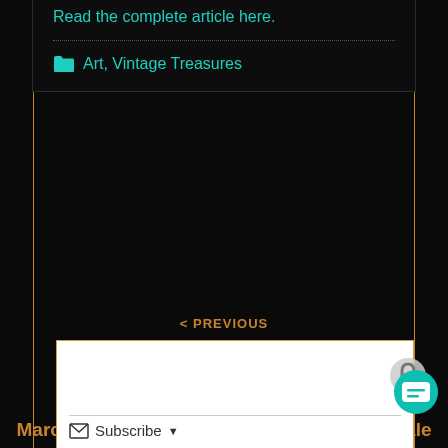Read the complete article here.
Art, Vintage Treasures
< PREVIOUS
The Forging Of Swords Of Steel
NEXT >
March 2015 Nightmare Magazine Now On Sale
Subscribe